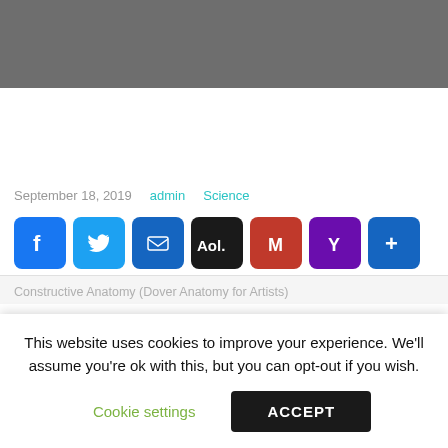[Figure (other): Gray header image/banner area]
September 18, 2019   admin   Science
[Figure (other): Social share buttons: Facebook, Twitter, Email, AOL, Gmail, Yahoo, More]
Constructive Anatomy (Dover Anatomy for Artists)
This website uses cookies to improve your experience. We'll assume you're ok with this, but you can opt-out if you wish.
Cookie settings   ACCEPT